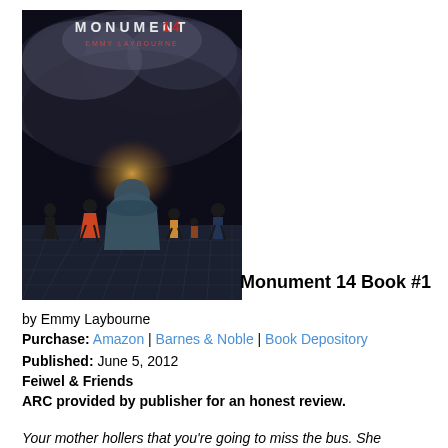[Figure (illustration): Book cover of Monument 14 by Emmy Laybourne. Dark stormy sky with dramatic clouds and light breaking through. Several children/figures standing on a tiled surface viewed from behind. A hooded figure prominently in the center. Text 'MONUMENT 14' at the top and 'EMMY LAYBOURNE' below it.]
Monument 14 Book #1
by Emmy Laybourne
Purchase: Amazon | Barnes & Noble | Book Depository
Published: June 5, 2012
Feiwel & Friends
ARC provided by publisher for an honest review.
Your mother hollers that you're going to miss the bus. She